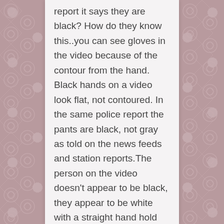report it says they are black? How do they know this..you can see gloves in the video because of the contour from the hand. Black hands on a video look flat, not contoured. In the same police report the pants are black, not gray as told on the news feeds and station reports.The person on the video doesn't appear to be black, they appear to be white with a straight hand hold on